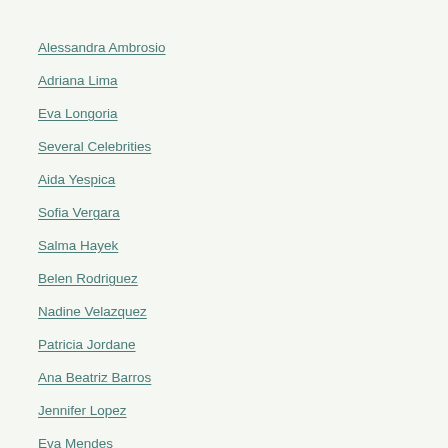Alessandra Ambrosio
Adriana Lima
Eva Longoria
Several Celebrities
Aida Yespica
Sofia Vergara
Salma Hayek
Belen Rodriguez
Nadine Velazquez
Patricia Jordane
Ana Beatriz Barros
Jennifer Lopez
Eva Mendes